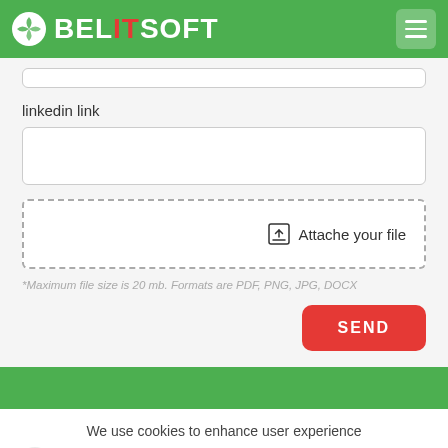[Figure (logo): BelITSoft logo with green circle icon and text BELITSOFT where IT is red, on green header bar with hamburger menu button]
linkedin link
[Figure (screenshot): Empty text input field for linkedin link]
[Figure (screenshot): File upload area with dashed border and Attache your file button with upload icon]
*Maximum file size is 20 mb. Formats are PDF, PNG, JPG, DOCX
[Figure (screenshot): SEND button in red with rounded corners]
[Figure (screenshot): Green footer bar]
We use cookies to enhance user experience
[Figure (screenshot): OK button in green and LEARN MORE button with green border, with scroll-up arrow button]